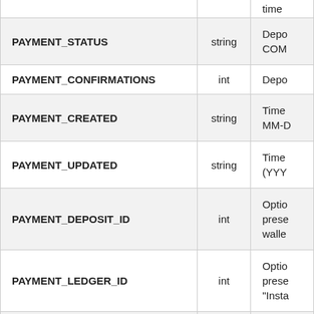| Field Name | Type | Description |
| --- | --- | --- |
|  |  | time |
| PAYMENT_STATUS | string | Depo
COM |
| PAYMENT_CONFIRMATIONS | int | Depo |
| PAYMENT_CREATED | string | Time
MM-D |
| PAYMENT_UPDATED | string | Time
(YYY |
| PAYMENT_DEPOSIT_ID | int | Optio
prese
walle |
| PAYMENT_LEDGER_ID | int | Optio
prese
"Insta |
| PAYMENT_FORCE_COMPLETED | boolean | Optio
manu |